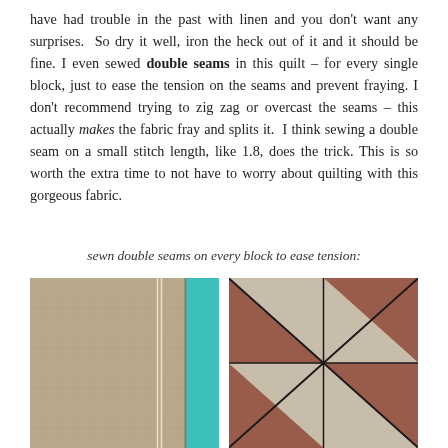have had trouble in the past with linen and you don't want any surprises. So dry it well, iron the heck out of it and it should be fine. I even sewed double seams in this quilt – for every single block, just to ease the tension on the seams and prevent fraying. I don't recommend trying to zig zag or overcast the seams – this actually makes the fabric fray and splits it. I think sewing a double seam on a small stitch length, like 1.8, does the trick. This is so worth the extra time to not have to worry about quilting with this gorgeous fabric.
sewn double seams on every block to ease tension:
[Figure (photo): Two photos side by side. Left photo shows a close-up of linen fabric on a teal cutting mat with a visible double seam line. Right photo shows quilt blocks assembled with diagonal seams forming an X pattern in beige and brownish-red linen fabric.]